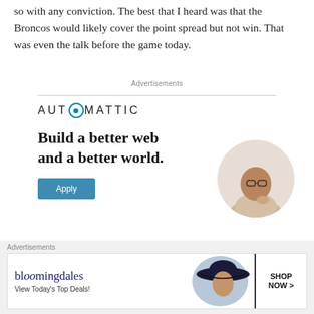so with any conviction. The best that I heard was that the Broncos would likely cover the point spread but not win. That was even the talk before the game today.
Advertisements
[Figure (illustration): Automattic advertisement banner with logo, tagline 'Build a better web and a better world.', Apply button, and circular photo of a person thinking]
[Figure (illustration): Close button (X) for dismissing an advertisement]
Advertisements
[Figure (illustration): Bloomingdale's advertisement banner with logo, 'View Today's Top Deals!' text, woman with hat, and 'SHOP NOW >' button]